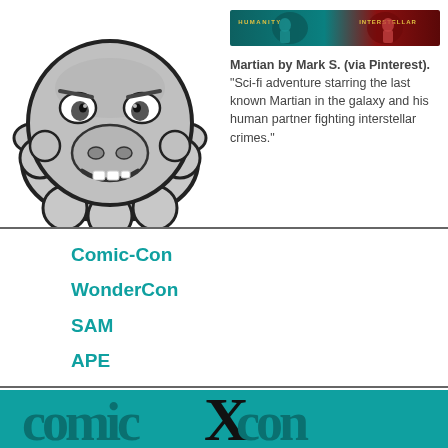[Figure (illustration): Cartoon animated Martian hippo character face, gray with dark outlines, grinning expression]
[Figure (photo): Dark sci-fi movie/show banner with teal and red tones, text reading HUMANITY and INTERSTELLAR]
Martian by Mark S. (via Pinterest). Animated talking Martian supports a number of non-profit organizations.
Martian by Mark S. (via Pinterest). "Sci-fi adventure starring the last known Martian in the galaxy and his human partner fighting interstellar crimes."
| Comic-Con |
| WonderCon |
| SAM |
| APE |
[Figure (logo): Comic-Con logo in teal/dark colors at bottom bar]